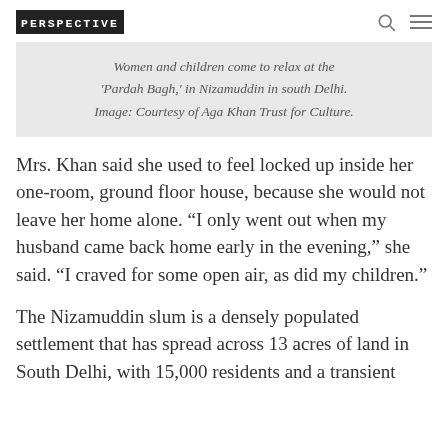PERSPECTIVE
Women and children come to relax at the 'Pardah Bagh,' in Nizamuddin in south Delhi. Image: Courtesy of Aga Khan Trust for Culture.
Mrs. Khan said she used to feel locked up inside her one-room, ground floor house, because she would not leave her home alone. “I only went out when my husband came back home early in the evening,” she said. “I craved for some open air, as did my children.”
The Nizamuddin slum is a densely populated settlement that has spread across 13 acres of land in South Delhi, with 15,000 residents and a transient